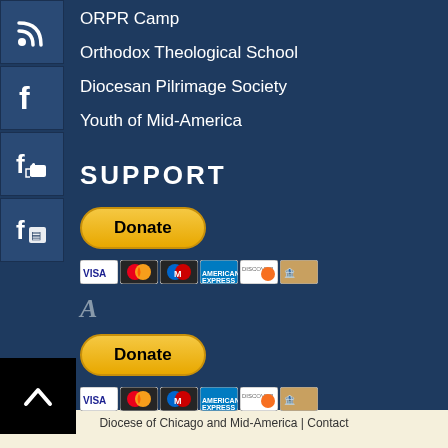ORPR Camp
Orthodox Theological School
Diocesan Pilrimage Society
Youth of Mid-America
SUPPORT
[Figure (illustration): PayPal Donate button with credit card icons (VISA, Mastercard, Maestro, Amex, Discover, bank card)]
[Figure (illustration): Amazon logo letter A icon]
[Figure (illustration): Second PayPal Donate button with credit card icons]
[Figure (illustration): Back to top button - black square with white chevron arrow]
Diocese of Chicago and Mid-America | Contact